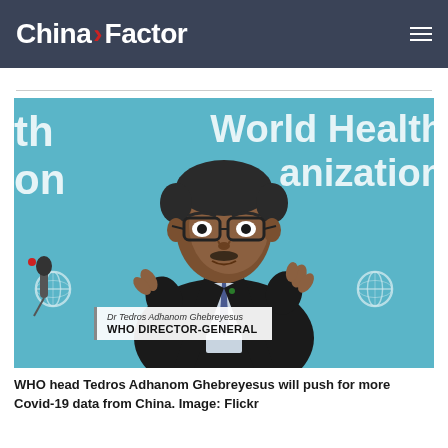China Factor
[Figure (photo): Dr Tedros Adhanom Ghebreyesus, WHO Director-General, seated at a press conference in front of a World Health Organization branded blue backdrop, speaking with hands raised, wearing a black suit and blue tie with glasses. A nameplate reads 'Dr Tedros Adhanom Ghebreyesus WHO DIRECTOR-GENERAL'. Microphones visible in foreground.]
WHO head Tedros Adhanom Ghebreyesus will push for more Covid-19 data from China. Image: Flickr